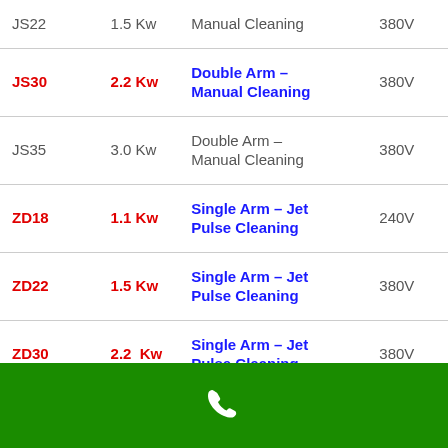| Model | Power | Type | Voltage |
| --- | --- | --- | --- |
| JS22 | 1.5 Kw | Manual Cleaning | 380V |
| JS30 | 2.2 Kw | Double Arm – Manual Cleaning | 380V |
| JS35 | 3.0 Kw | Double Arm – Manual Cleaning | 380V |
| ZD18 | 1.1 Kw | Single Arm – Jet Pulse Cleaning | 240V |
| ZD22 | 1.5 Kw | Single Arm – Jet Pulse Cleaning | 380V |
| ZD30 | 2.2 Kw | Single Arm – Jet Pulse Cleaning | 380V |
[Figure (infographic): Green footer bar with white phone icon]